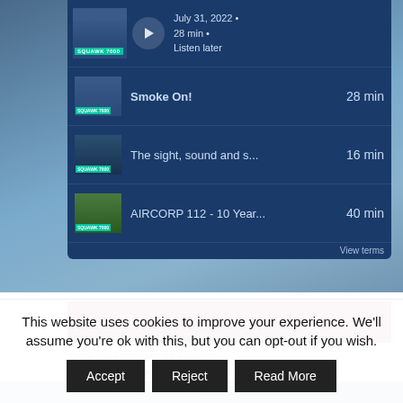[Figure (screenshot): Podcast widget showing SQUAWK 7000 podcast player with episode list. Now playing: July 31, 2022 • 28 min • Listen later. Episodes: Smoke On! (28 min), The sight, sound and s... (16 min), AIRCORP 112 - 10 Year... (40 min). View terms link at bottom.]
Next 3 Events
Click here to view all events
...
This website uses cookies to improve your experience. We'll assume you're ok with this, but you can opt-out if you wish.
Accept
Reject
Read More